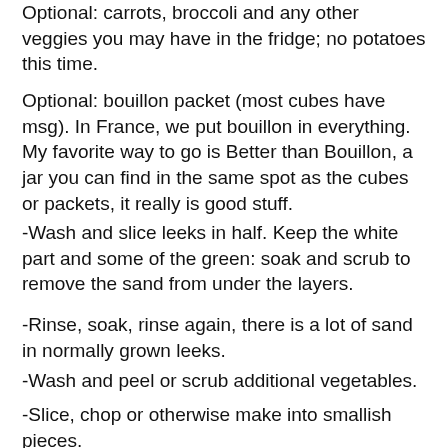Optional: carrots, broccoli and any other veggies you may have in the fridge; no potatoes this time.
Optional: bouillon packet (most cubes have msg). In France, we put bouillon in everything. My favorite way to go is Better than Bouillon, a jar you can find in the same spot as the cubes or packets, it really is good stuff.
-Wash and slice leeks in half. Keep the white part and some of the green: soak and scrub to remove the sand from under the layers.
-Rinse, soak, rinse again, there is a lot of sand in normally grown leeks.
-Wash and peel or scrub additional vegetables.
-Slice, chop or otherwise make into smallish pieces.
-Add them to a boiling pot of salted water and simmer for 30-45 minutes. Serve hot or cold, with or without pieces. You can drain the broth, mix it all in a blender/food processor, or eat it as is. Some kids will eat it blended but not "with